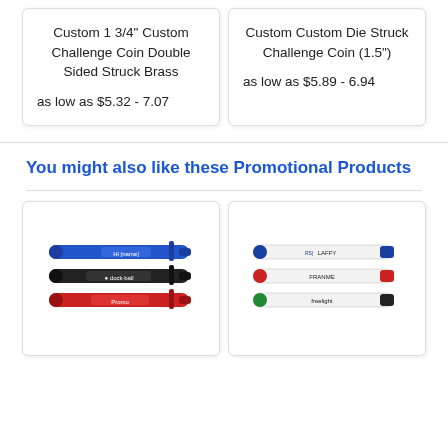Custom 1 3/4" Custom Challenge Coin Double Sided Struck Brass
as low as $5.32 - 7.07
Custom Custom Die Struck Challenge Coin (1.5")
as low as $5.89 - 6.94
You might also like these Promotional Products
[Figure (photo): Three promotional pens (blue, black, red) with custom branding printed on them]
[Figure (photo): Three promotional pens (white with blue, red, and green accents) with custom branding including logos]